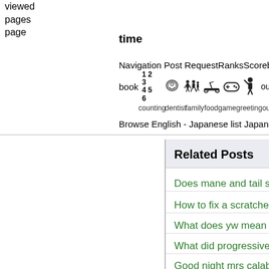viewed
pages
page
time
Navigation Post RequestRanksScoreboardRegis
book  1 2 3 4 5 6  counting dentist family food game greeting ou
Browse English - Japanese list Japanese - Engli
Related Posts
Does mane and tail shampoo work
How to fix a scratched ps2 disc
What does yw mean on facebook
What did progressives have in common with
Good night mrs calabash where ever you are
Which side of car is left
Kiel oni diras "Ĉu katoj sonĝas?" Hebrea vorto